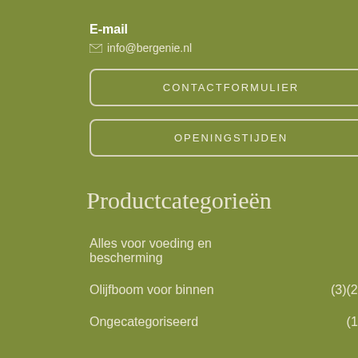E-mail
✉ info@bergenie.nl
CONTACTFORMULIER
OPENINGSTIJDEN
Productcategorieën
Alles voor voeding en bescherming
Olijfboom voor binnen    (3)(23)
Ongecategoriseerd    (10)